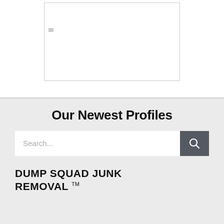[Figure (other): White rectangular image placeholder with a light border, partially visible at top center of page]
Our Newest Profiles
Search...
DUMP SQUAD JUNK REMOVAL™